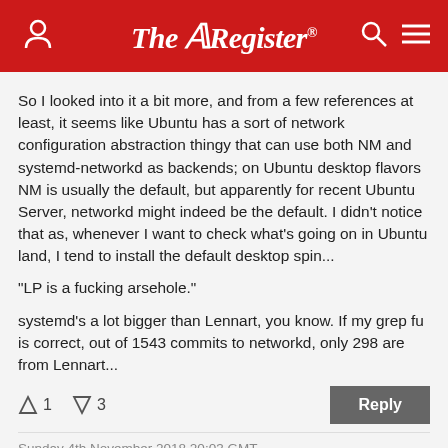The Register
So I looked into it a bit more, and from a few references at least, it seems like Ubuntu has a sort of network configuration abstraction thingy that can use both NM and systemd-networkd as backends; on Ubuntu desktop flavors NM is usually the default, but apparently for recent Ubuntu Server, networkd might indeed be the default. I didn't notice that as, whenever I want to check what's going on in Ubuntu land, I tend to install the default desktop spin...
"LP is a fucking arsehole."
systemd's a lot bigger than Lennart, you know. If my grep fu is correct, out of 1543 commits to networkd, only 298 are from Lennart...
↑1  ↓3   Reply
Sunday 4th November 2018 20:03 GMT